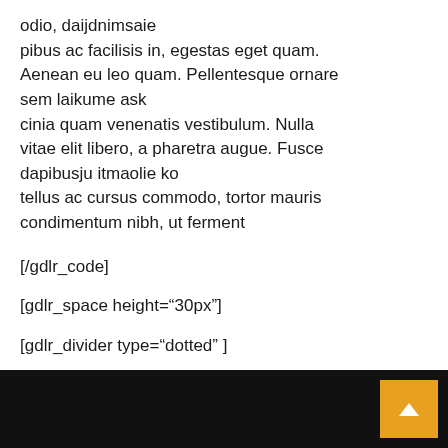odio, daijdnimsaie
pibus ac facilisis in, egestas eget quam. Aenean eu leo quam. Pellentesque ornare sem laikume ask
cinia quam venenatis vestibulum. Nulla vitae elit libero, a pharetra augue. Fusce dapibusju itmaolie ko
tellus ac cursus commodo, tortor mauris condimentum nibh, ut ferment
[/gdlr_code]
[gdlr_space height="30px"]
[gdlr_divider type="dotted" ]
[gdlr_space height="80px"]